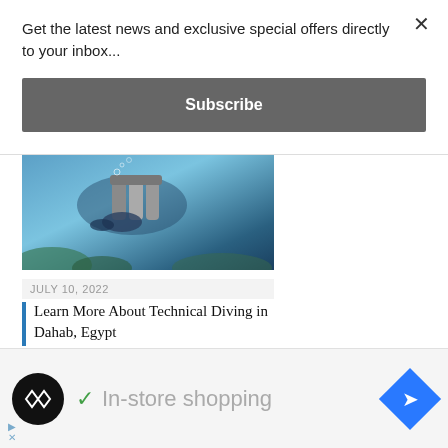Get the latest news and exclusive special offers directly to your inbox...
Subscribe
[Figure (photo): Scuba divers underwater with technical diving equipment and tanks]
JULY 10, 2022
Learn More About Technical Diving in Dahab, Egypt
[Figure (photo): Diver in dark water with blue light background]
[Figure (infographic): Advertisement bar with logo, checkmark, In-store shopping text, and navigation arrow icon]